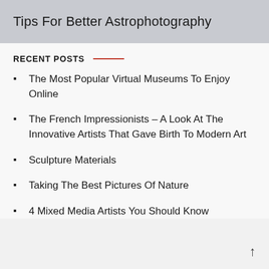Tips For Better Astrophotography
RECENT POSTS
The Most Popular Virtual Museums To Enjoy Online
The French Impressionists – A Look At The Innovative Artists That Gave Birth To Modern Art
Sculpture Materials
Taking The Best Pictures Of Nature
4 Mixed Media Artists You Should Know